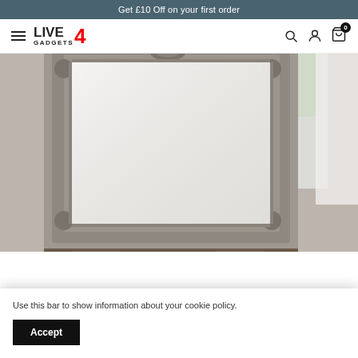Get £10 Off on your first order
[Figure (logo): Live4Gadgets logo with hamburger menu, search, account, and cart icons with badge showing 0]
[Figure (photo): A decorative grey ornate-framed mirror leaning against a wall in a room with white curtains and a window]
Use this bar to show information about your cookie policy.
Accept